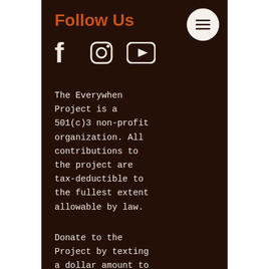Follow Us
[Figure (illustration): Social media icons: Facebook (f), Instagram (camera), YouTube (play button) in white on dark brown background; hamburger menu button in top right]
The Everywhen Project is a 501(c)3 non-profit organization. All contributions to the project are tax-deductible to the fullest extent allowable by law.
Donate to the Project by texting a dollar amount to +1-775-EVERY-99 (1-775-383-7999)